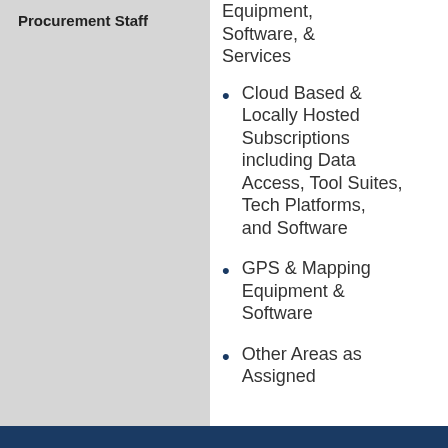Procurement Staff
Equipment, Software, & Services
Cloud Based & Locally Hosted Subscriptions including Data Access, Tool Suites, Tech Platforms, and Software
GPS & Mapping Equipment & Software
Other Areas as Assigned